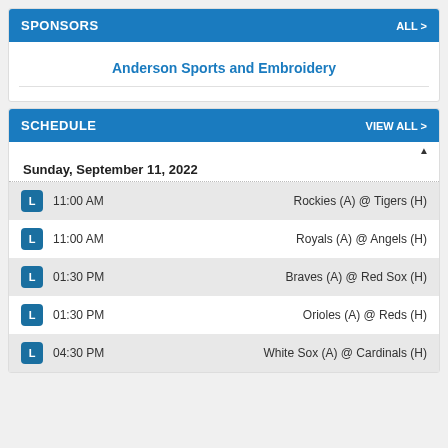SPONSORS
Anderson Sports and Embroidery
SCHEDULE
Sunday, September 11, 2022
L  11:00 AM  Rockies (A) @ Tigers (H)
L  11:00 AM  Royals (A) @ Angels (H)
L  01:30 PM  Braves (A) @ Red Sox (H)
L  01:30 PM  Orioles (A) @ Reds (H)
L  04:30 PM  White Sox (A) @ Cardinals (H)